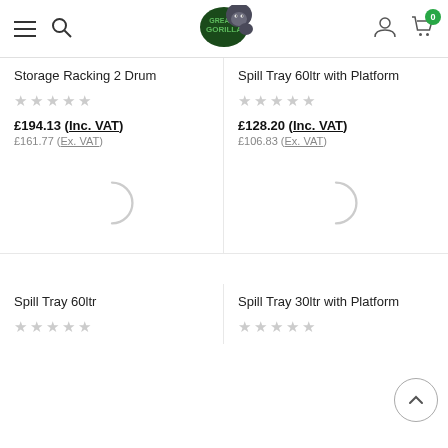Grease Gorilla - header navigation with menu, search, logo, user account, and cart (0 items)
Storage Racking 2 Drum
★★★★★
£194.13 (Inc. VAT) £161.77 (Ex. VAT)
Spill Tray 60ltr with Platform
★★★★★
£128.20 (Inc. VAT) £106.83 (Ex. VAT)
[Figure (other): Loading spinner arc for product image placeholder]
[Figure (other): Loading spinner arc for product image placeholder]
Spill Tray 60ltr
★★★★★
Spill Tray 30ltr with Platform
★★★★★